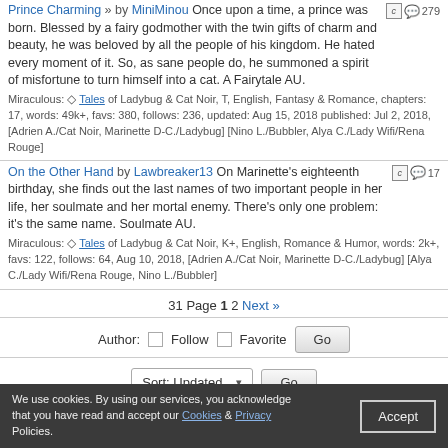Prince Charming » by MiniMinou Once upon a time, a prince was born. Blessed by a fairy godmother with the twin gifts of charm and beauty, he was beloved by all the people of his kingdom. He hated every moment of it. So, as sane people do, he summoned a spirit of misfortune to turn himself into a cat. A Fairytale AU.
Miraculous: Tales of Ladybug & Cat Noir, T, English, Fantasy & Romance, chapters: 17, words: 49k+, favs: 380, follows: 236, updated: Aug 15, 2018 published: Jul 2, 2018, [Adrien A./Cat Noir, Marinette D-C./Ladybug] [Nino L./Bubbler, Alya C./Lady Wifi/Rena Rouge]
On the Other Hand by Lawbreaker13 On Marinette's eighteenth birthday, she finds out the last names of two important people in her life, her soulmate and her mortal enemy. There's only one problem: it's the same name. Soulmate AU.
Miraculous: Tales of Ladybug & Cat Noir, K+, English, Romance & Humor, words: 2k+, favs: 122, follows: 64, Aug 10, 2018, [Adrien A./Cat Noir, Marinette D-C./Ladybug] [Alya C./Lady Wifi/Rena Rouge, Nino L./Bubbler]
31 Page 1 2 Next »
Author: Follow Favorite Go
Sort: Updated Go
We use cookies. By using our services, you acknowledge that you have read and accept our Cookies & Privacy Policies. Accept